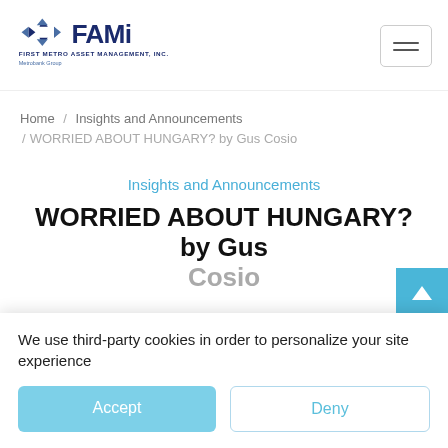[Figure (logo): FAMI - First Metro Asset Management Inc. logo with Metrobank Group tagline]
Home / Insights and Announcements / WORRIED ABOUT HUNGARY? by Gus Cosio
Insights and Announcements
WORRIED ABOUT HUNGARY? by Gus Cosio
We use third-party cookies in order to personalize your site experience
Accept
Deny